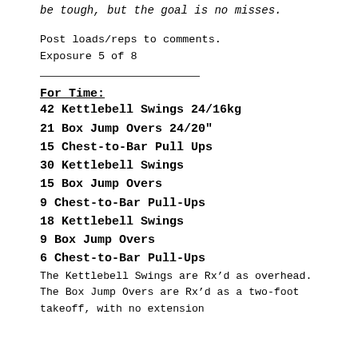be tough, but the goal is no misses.
Post loads/reps to comments.
Exposure 5 of 8
For Time:
42 Kettlebell Swings 24/16kg
21 Box Jump Overs 24/20"
15 Chest-to-Bar Pull Ups
30 Kettlebell Swings
15 Box Jump Overs
9 Chest-to-Bar Pull-Ups
18 Kettlebell Swings
9 Box Jump Overs
6 Chest-to-Bar Pull-Ups
The Kettlebell Swings are Rx'd as overhead. The Box Jump Overs are Rx'd as a two-foot takeoff, with no extension